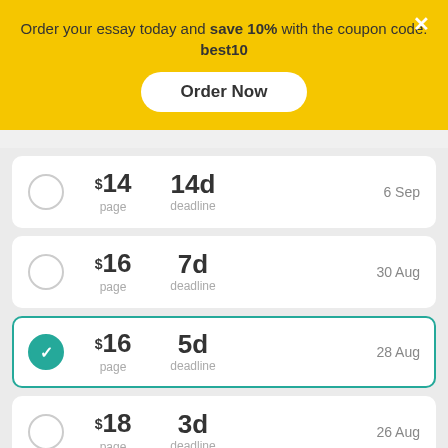Order your essay today and save 10% with the coupon code: best10
Order Now
| Select | Price/page | Deadline | Date |
| --- | --- | --- | --- |
| ○ | $14 / page | 14d deadline | 6 Sep |
| ○ | $16 / page | 7d deadline | 30 Aug |
| ✓ (selected) | $16 / page | 5d deadline | 28 Aug |
| ○ | $18 / page | 3d deadline | 26 Aug |
| ○ | $19 / page | 2d deadline | 25 Aug |